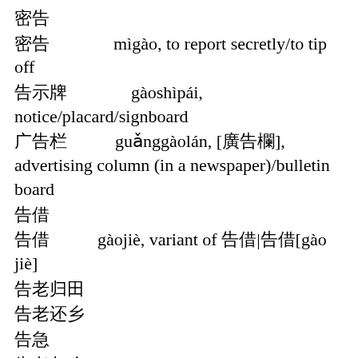密告
密告  mìgào, to report secretly/to tip off
告示牌  gàoshìpái, notice/placard/signboard
广告栏  guǎnggàolán, [廣告欄], advertising column (in a newspaper)/bulletin board
告借
告借  gàojiè, variant of 借告|借告[gào jiè]
告老归田
告老还乡
告急
告老归乡
告急  gàojí, to be in a state of emergency/to report an emergency/to ask for emergency assist...
奔走相告  bēnzǒuxiānggào, to spread the news (idiom)